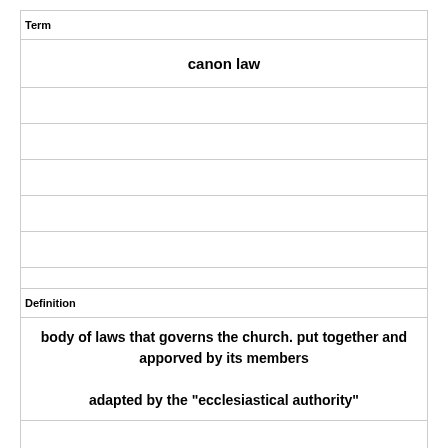| Term |
| --- |
| canon law |
|  |
|  |
|  |
|  |
|  |
|  |
| Definition |
| body of laws that governs the church. put together and apporved by its members

adapted by the "ecclesiastical authority" |
|  |
|  |
|  |
|  |